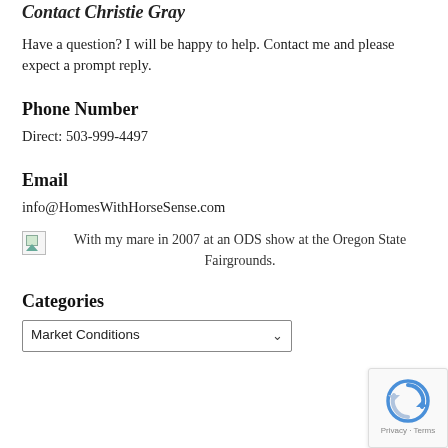Contact Christie Gray
Have a question? I will be happy to help. Contact me and please expect a prompt reply.
Phone Number
Direct: 503-999-4497
Email
info@HomesWithHorseSense.com
With my mare in 2007 at an ODS show at the Oregon State Fairgrounds.
Categories
Market Conditions